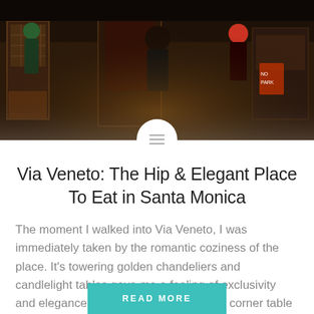[Figure (photo): Nighttime restaurant exterior/street scene showing people near a dimly lit entrance with warm golden tones]
Via Veneto: The Hip & Elegant Place To Eat in Santa Monica
The moment I walked into Via Veneto, I was immediately taken by the romantic coziness of the place. It’s towering golden chandeliers and candlelight tables gave me a feeling of exclusivity and elegance.  My sister and I sat in the corner table overlooking the main street of Santa Monica.The room was darkly lit,...
READ MORE